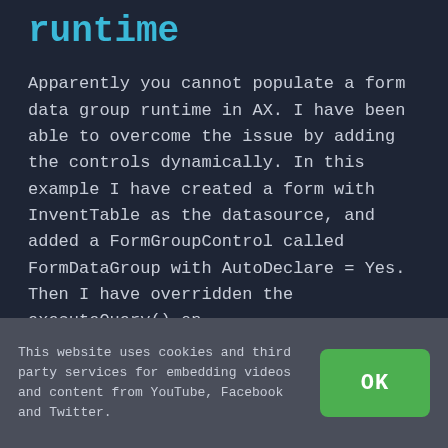runtime
Apparently you cannot populate a form data group runtime in AX. I have been able to overcome the issue by adding the controls dynamically. In this example I have created a form with InventTable as the datasource, and added a FormGroupControl called FormDataGroup with AutoDeclare = Yes. Then I have overridden the executeQuery() on
This website uses cookies and third party services for embedding videos and content from YouTube, Facebook and Twitter.